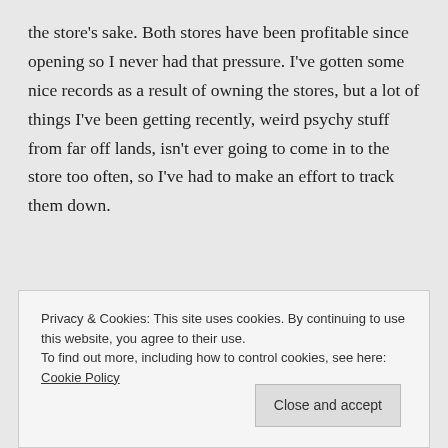the store's sake. Both stores have been profitable since opening so I never had that pressure. I've gotten some nice records as a result of owning the stores, but a lot of things I've been getting recently, weird psychy stuff from far off lands, isn't ever going to come in to the store too often, so I've had to make an effort to track them down.
Continue reading
Privacy & Cookies: This site uses cookies. By continuing to use this website, you agree to their use.
To find out more, including how to control cookies, see here: Cookie Policy
Close and accept